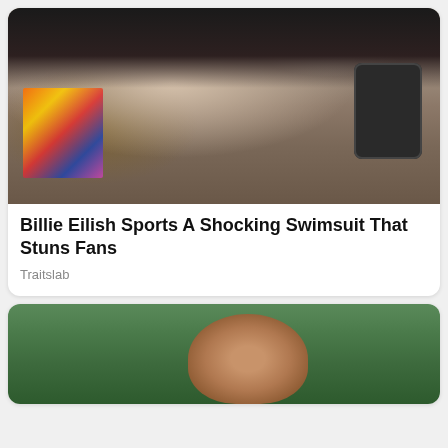[Figure (photo): Mirror selfie of a young woman with dark black shaggy hair with bangs, holding an iPhone, wearing a plaid shirt and layered necklaces. Colorful wall art visible in background.]
Billie Eilish Sports A Shocking Swimsuit That Stuns Fans
Traitslab
[Figure (photo): Close-up photo of a bald man against a green background, partially cropped.]